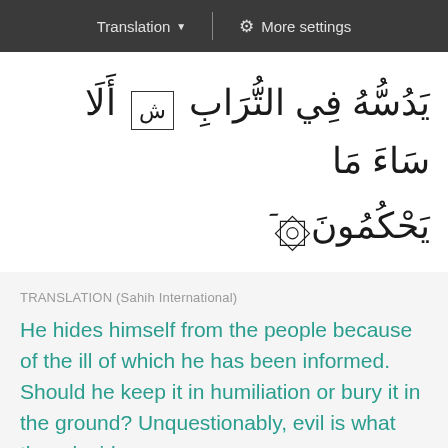Translation ▼  |  ⚙ More settings
يَدُسُّهُ فِي التُّرَابِ ش أَلَا سَاءَ مَا يَحْكُمُونَ ٥٩
TRANSLATION (Sahih International)
He hides himself from the people because of the ill of which he has been informed. Should he keep it in humiliation or bury it in the ground? Unquestionably, evil is what they decide.